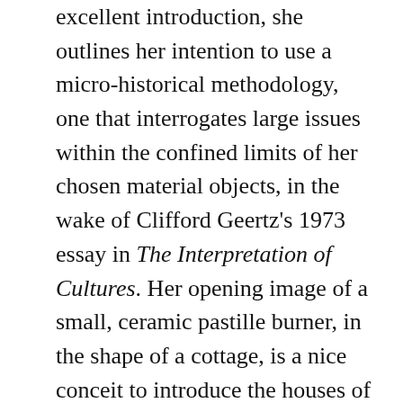excellent introduction, she outlines her intention to use a micro-historical methodology, one that interrogates large issues within the confined limits of her chosen material objects, in the wake of Clifford Geertz's 1973 essay in The Interpretation of Cultures. Her opening image of a small, ceramic pastille burner, in the shape of a cottage, is a nice conceit to introduce the houses of the unconventional, heteronormative subjects that she will go on to study.
Her first section is entitled ‘Representation’, as she is particularly interested in how owners flaunted their homes and contents, and how others viewed and described what they